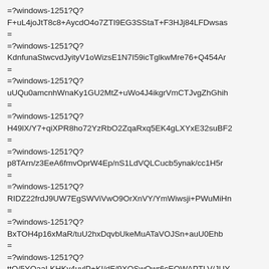=?windows-1251?Q?
F+uL4joJtT8c8+AycdO4o7ZTI9EG3SStaT+F3HJj84LFDwsas
=
=?windows-1251?Q?
KdnfunaStwcvdJyityV1oWizsE1N7I59icTglkwMre76+Q454Ar
=
=?windows-1251?Q?
uUQu0amcnhWnaKy1GU2MtZ+uWo4J4ikgrVmCTJvgZhGhih
=
=?windows-1251?Q?
H49lX/Y7+qiXPR8ho72YzRbO2ZqaRxq5EK4gLXYxE32suBF2
=
=?windows-1251?Q?
p8TArn/z3EeA6fmvOprW4Ep/nS1LdVQLCucb5ynak/cc1H5r
=
=?windows-1251?Q?
RIDZ22frdJ9UW7EgSWViVwO9OrXnVY/YmWiwsji+PWuMiHn
=
=?windows-1251?Q?
BxTOH4p16xMaR/tuU2hxDqvbUkeMuATaVOJSn+auU0Ehb
=
=?windows-1251?Q?
ttO/5YOaaLKHKv4uvlP+KI/dF/9XQSwOwr6cEOWAPTLV/JUY
=